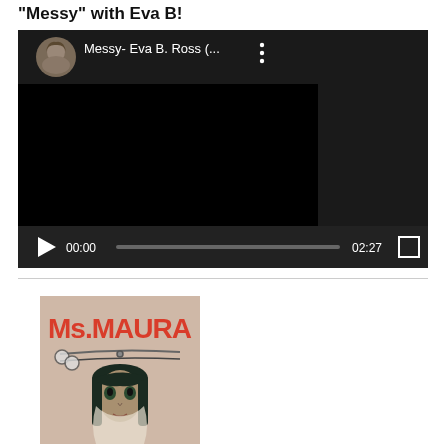"Messy" with Eva B!
[Figure (screenshot): Embedded video player showing 'Messy- Eva B. Ross (...)' with a circular avatar of a woman, dark video area, play button, time 00:00, progress bar, duration 02:27, and fullscreen button]
[Figure (photo): Album cover image for Ms.MAURA showing a woman's face with scissors overlay and bold red text reading Ms.MAURA]